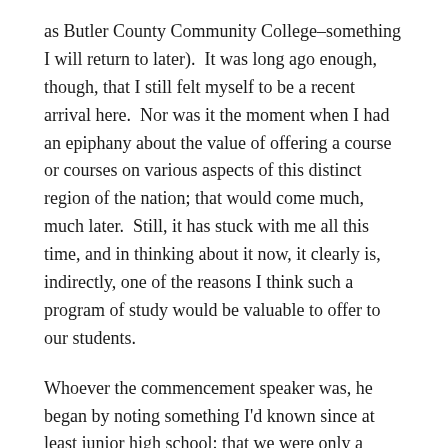as Butler County Community College–something I will return to later).  It was long ago enough, though, that I still felt myself to be a recent arrival here.  Nor was it the moment when I had an epiphany about the value of offering a course or courses on various aspects of this distinct region of the nation; that would come much, much later.  Still, it has stuck with me all this time, and in thinking about it now, it clearly is, indirectly, one of the reasons I think such a program of study would be valuable to offer to our students.
Whoever the commencement speaker was, he began by noting something I'd known since at least junior high school: that we were only a couple of hours to the southwest of the geographic center of the 48 contiguous states.  I instantly began writing the rest of his address in my head, the version I wanted him to